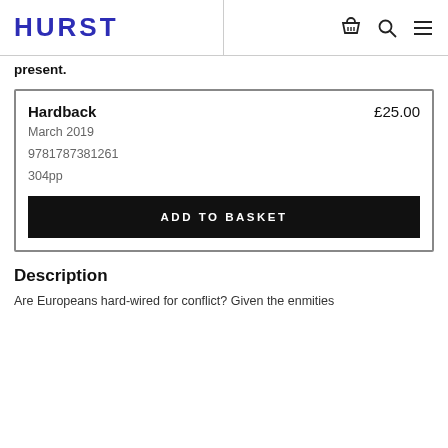HURST
present.
| Type | Price |
| --- | --- |
| Hardback | £25.00 |
| March 2019 |  |
| 9781787381261 |  |
| 304pp |  |
Description
Are Europeans hard-wired for conflict? Given the enmities